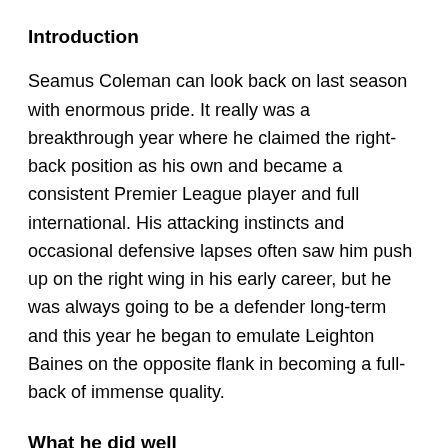Introduction
Seamus Coleman can look back on last season with enormous pride. It really was a breakthrough year where he claimed the right-back position as his own and became a consistent Premier League player and full international. His attacking instincts and occasional defensive lapses often saw him push up on the right wing in his early career, but he was always going to be a defender long-term and this year he began to emulate Leighton Baines on the opposite flank in becoming a full-back of immense quality.
What he did well
He combined his pacey, direct attacking approach with greater awareness - both defensively and offensively.